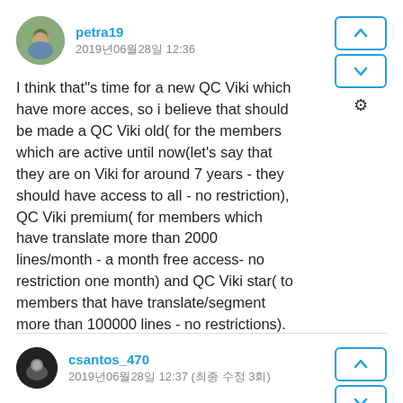petra19
2019년06월28일 12:36
I think that"s time for a new QC Viki which have more acces, so i believe that should be made a QC Viki old( for the members which are active until now(let's say that they are on Viki for around 7 years - they should have access to all - no restriction), QC Viki premium( for members which have translate more than 2000 lines/month - a month free access- no restriction one month) and QC Viki star( to members that have translate/segment more than 100000 lines - no restrictions).
csantos_470
2019년06월28일 12:37 (최종 수정 3회)